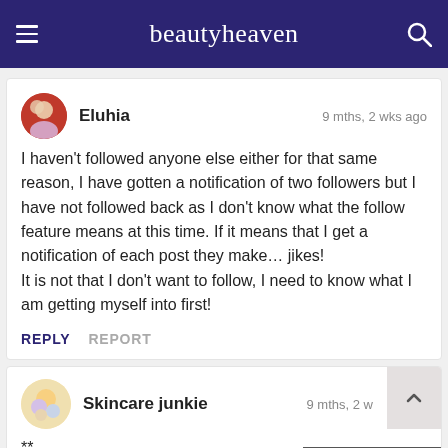beautyheaven
Eluhia — 9 mths, 2 wks ago
I haven't followed anyone else either for that same reason, I have gotten a notification of two followers but I have not followed back as I don't know what the follow feature means at this time. If it means that I get a notification of each post they make… jikes!
It is not that I don't want to follow, I need to know what I am getting myself into first!
REPLY   REPORT
Skincare junkie — 9 mths, 2 w
**
TREAT YOURSELF OR SOMEONE SPECIAL